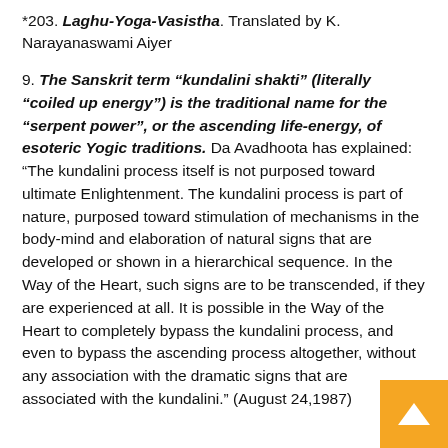*203. Laghu-Yoga-Vasistha. Translated by K. Narayanaswami Aiyer
9. The Sanskrit term “kundalini shakti” (literally “coiled up energy”) is the traditional name for the “serpent power”, or the ascending life-energy, of esoteric Yogic traditions. Da Avadhoota has explained: “The kundalini process itself is not purposed toward ultimate Enlightenment. The kundalini process is part of nature, purposed toward stimulation of mechanisms in the body-mind and elaboration of natural signs that are developed or shown in a hierarchical sequence. In the Way of the Heart, such signs are to be transcended, if they are experienced at all. It is possible in the Way of the Heart to completely bypass the kundalini process, and even to bypass the ascending process altogether, without any association with the dramatic signs that are associated with the kundalini.” (August 24,1987)